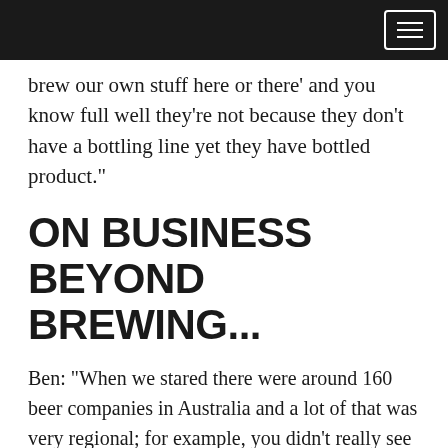[navigation bar with menu button]
brew our own stuff here or there' and you know full well they're not because they don't have a bottling line yet they have bottled product."
ON BUSINESS BEYOND BREWING...
Ben: “When we stared there were around 160 beer companies in Australia and a lot of that was very regional; for example, you didn't really see Mountain Goat in Sydney. There'd have to be twice as many brands out there now as when we started and everyone's expanded their portfolio. We started with two beers, now we've got six. It's exploded. If we looked at the industry today, five years ago, we might've said, 'Whoa, how the hell are we going to